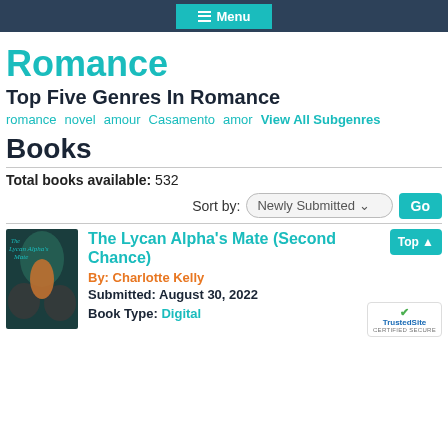Menu
Romance
Top Five Genres In Romance
romance   novel   amour   Casamento   amor   View All Subgenres
Books
Total books available: 532
Sort by: Newly Submitted  Go
The Lycan Alpha's Mate (Second Chance)
By: Charlotte Kelly
Submitted: August 30, 2022
Book Type: Digital